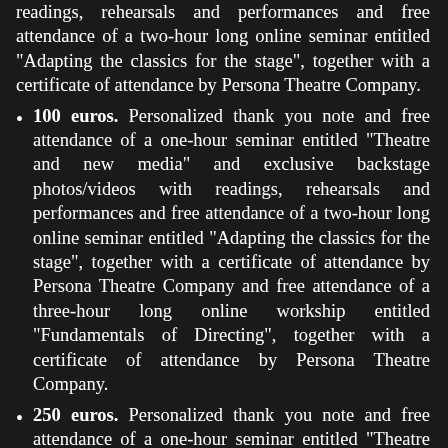readings, rehearsals and performances and free attendance of a two-hour long online seminar entitled “Adapting the classics for the stage”, together with a certificate of attendance by Persona Theatre Company.
100 euros. Personalized thank you note and free attendance of a one-hour seminar entitled “Theatre and new media” and exclusive backstage photos/videos with readings, rehearsals and performances and free attendance of a two-hour long online seminar entitled “Adapting the classics for the stage”, together with a certificate of attendance by Persona Theatre Company and free attendance of a three-hour long online workship entitled “Fundamentals of Directing”, together with a certificate of attendance by Persona Theatre Company.
250 euros. Personalized thank you note and free attendance of a one-hour seminar entitled “Theatre and new media” and exclusive backstage photos/videos with readings, rehearsals and performances and free attendance of a two-hour long online seminar entitled “Adapting the classics for the stage”, together with a certificate of attendance by Persona Theatre Company.